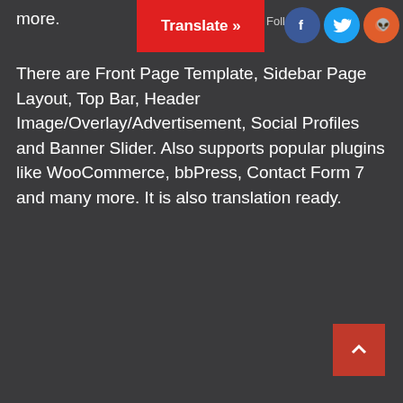more.
[Figure (screenshot): Red translate button with text 'Translate »']
[Figure (screenshot): Social media icons: Facebook (blue circle with f), Twitter (blue circle with bird), Reddit (orange circle with alien mascot)]
There are Front Page Template, Sidebar Page Layout, Top Bar, Header Image/Overlay/Advertisement, Social Profiles and Banner Slider. Also supports popular plugins like WooCommerce, bbPress, Contact Form 7 and many more. It is also translation ready.
[Figure (screenshot): Red square button with upward caret/arrow for scrolling to top of page]